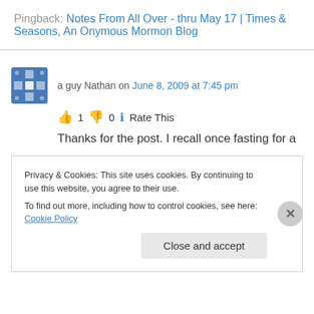Pingback: Notes From All Over - thru May 17 | Times & Seasons, An Onymous Mormon Blog
a guy Nathan on June 8, 2009 at 7:45 pm
👍 1 👎 0 ℹ Rate This
Thanks for the post. I recall once fasting for a
Privacy & Cookies: This site uses cookies. By continuing to use this website, you agree to their use.
To find out more, including how to control cookies, see here: Cookie Policy
Close and accept